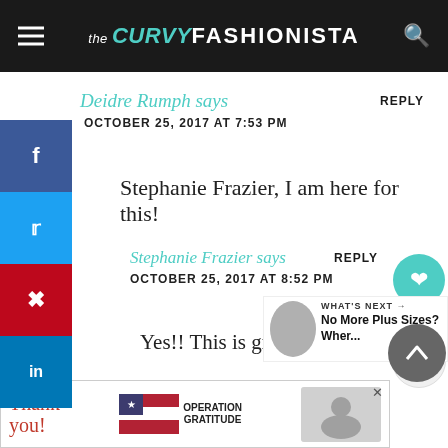the CURVY FASHIONISTA
Deidre Rumph says
OCTOBER 25, 2017 AT 7:53 PM
REPLY
Stephanie Frazier, I am here for this!
Stephanie Frazier says
OCTOBER 25, 2017 AT 8:52 PM
REPLY
Yes!! This is great news!
[Figure (screenshot): Advertisement banner: Thank you Operation Gratitude with healthcare workers photo]
WHAT'S NEXT → No More Plus Sizes? Wher...